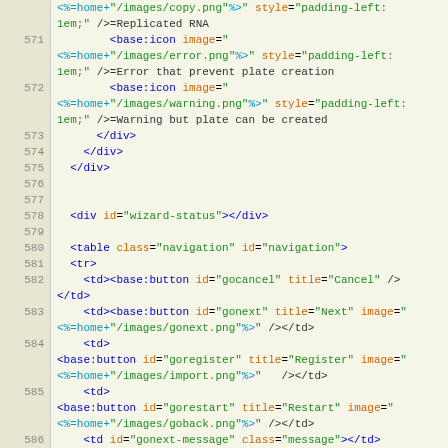Source code listing, lines 570-592, showing JSP/HTML template code with base:icon and base:button tags, navigation table structure, and form closing tags.